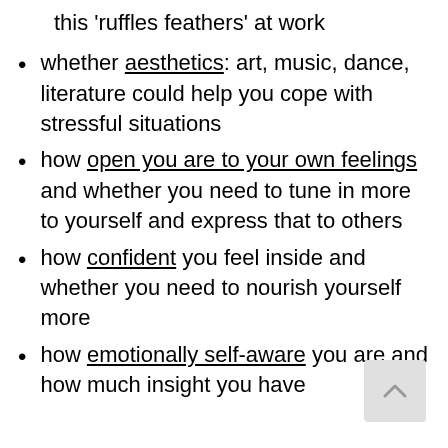this 'ruffles feathers' at work
whether aesthetics: art, music, dance, literature could help you cope with stressful situations
how open you are to your own feelings and whether you need to tune in more to yourself and express that to others
how confident you feel inside and whether you need to nourish yourself more
how emotionally self-aware you are and how much insight you have